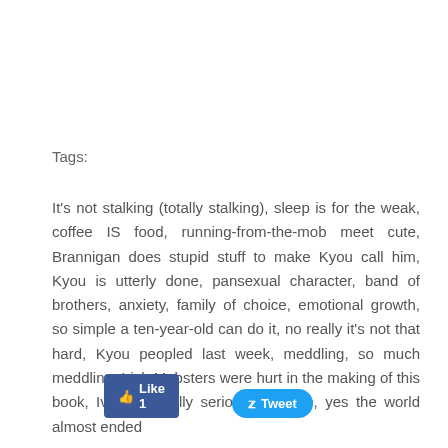Tags:
It's not stalking (totally stalking), sleep is for the weak, coffee IS food, running-from-the-mob meet cute, Brannigan does stupid stuff to make Kyou call him, Kyou is utterly done, pansexual character, band of brothers, anxiety, family of choice, emotional growth, so simple a ten-year-old can do it, no really it’s not that hard, Kyou peopled last week, meddling, so much meddling, Irish Mobsters were hurt in the making of this book, Ivan’s actually serious for once, yes the world almost ended